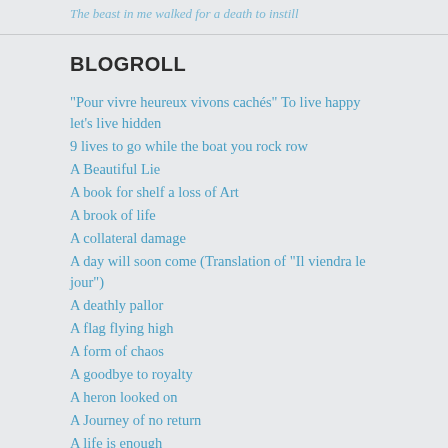The beast in me walked for a death to instill
BLOGROLL
"Pour vivre heureux vivons cachés" To live happy let's live hidden
9 lives to go while the boat you rock row
A Beautiful Lie
A book for shelf a loss of Art
A brook of life
A collateral damage
A day will soon come (Translation of "Il viendra le jour")
A deathly pallor
A flag flying high
A form of chaos
A goodbye to royalty
A heron looked on
A Journey of no return
A life is enough
A million kisses